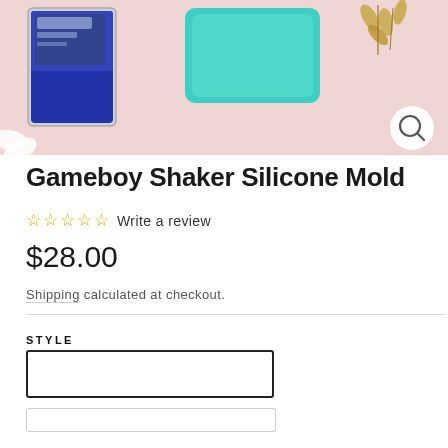[Figure (photo): Product photo showing a silicone shaker mold with a gaming card inside a clear case, a teal rectangular tray, gold leaf decoration, on a pink background. A magnify/zoom button is visible in the bottom right of the image.]
Gameboy Shaker Silicone Mold
☆ ☆ ☆ ☆ ☆ Write a review
$28.00
Shipping calculated at checkout.
STYLE
Trading Card (Version 1)